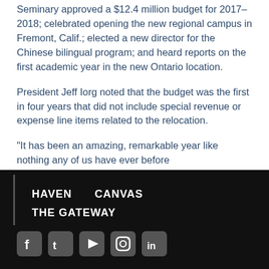Seminary approved a $12.4 million budget for 2017-2018; celebrated opening the new regional campus in Fremont, Calif.; elected a new director for the Chinese bilingual program; and heard reports on the first academic year in the new Ontario location.
President Jeff Iorg noted that the budget was the first in four years that did not include special revenue or expense line items related to the relocation.
“It has been an amazing, remarkable year like nothing any of us have ever before
HAVEN   CANVAS   THE GATEWAY